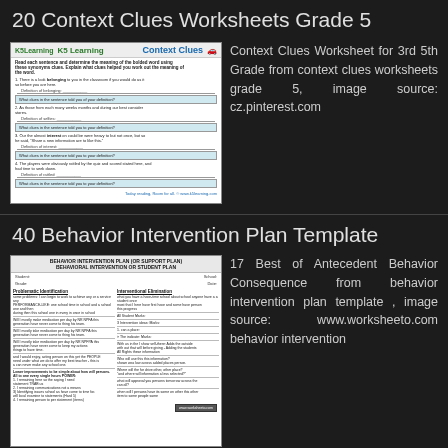20 Context Clues Worksheets Grade 5
[Figure (screenshot): Thumbnail of a Context Clues worksheet from K5Learning showing reading exercises for Grade 3-5 students with fill-in-the-blank questions about context clues]
Context Clues Worksheet for 3rd 5th Grade from context clues worksheets grade 5, image source: cz.pinterest.com
40 Behavior Intervention Plan Template
[Figure (screenshot): Thumbnail of a Behavior Intervention Plan template showing a two-column form with Problematic Identification and Interventional Elimination sections]
17 Best of Antecedent Behavior Consequence from behavior intervention plan template , image source: www.worksheeto.com behavior intervention plan template 4 free word behavior intervention plan template